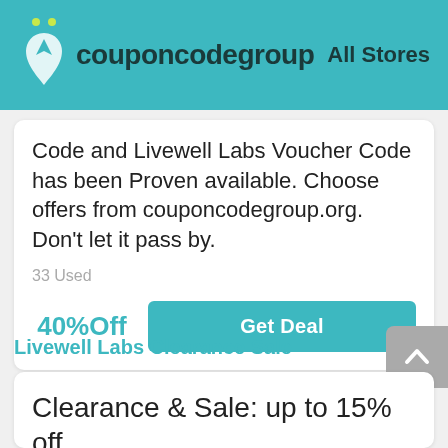[Figure (logo): CouponCodeGroup logo with teal background, stylized heart/person icon and text logo, with 'All Stores' link on the right]
Code and Livewell Labs Voucher Code has been Proven available. Choose offers from couponcodegroup.org. Don't let it pass by.
33 Used
40%Off
Get Deal
Livewell Labs Clearance Sale
Clearance & Sale: up to 15% off